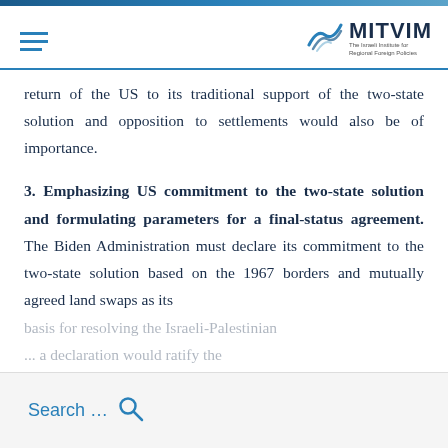MITVIM - The Israeli Institute for Regional Foreign Policies
return of the US to its traditional support of the two-state solution and opposition to settlements would also be of importance.
3. Emphasizing US commitment to the two-state solution and formulating parameters for a final-status agreement. The Biden Administration must declare its commitment to the two-state solution based on the 1967 borders and mutually agreed land swaps as its
basis for resolving the Israeli-Palestinian ... a declaration would ratify the